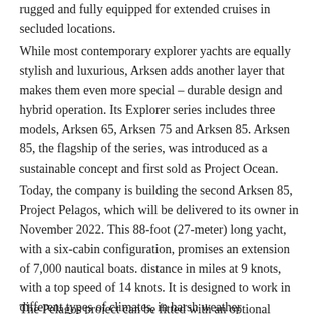rugged and fully equipped for extended cruises in secluded locations.
While most contemporary explorer yachts are equally stylish and luxurious, Arksen adds another layer that makes them even more special – durable design and hybrid operation. Its Explorer series includes three models, Arksen 65, Arksen 75 and Arksen 85. Arksen 85, the flagship of the series, was introduced as a sustainable concept and first sold as Project Ocean.
Today, the company is building the second Arksen 85, Project Pelagos, which will be delivered to its owner in November 2022. This 88-foot (27-meter) long yacht, with a six-cabin configuration, promises an extension of 7,000 nautical boats. distance in miles at 9 knots, with a top speed of 14 knots. It is designed to work in different types of climates, in harsh weather conditions, for long periods of time, without external support.
The Pelagos project can be fitted with an optional hybrid